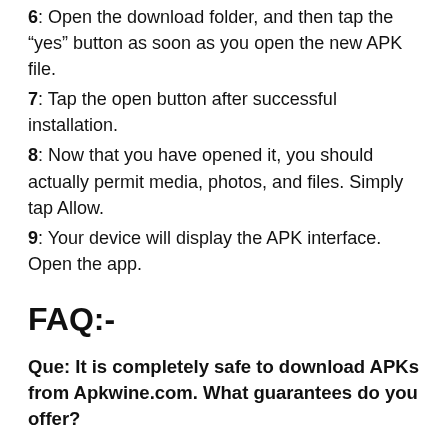6: Open the download folder, and then tap the “yes” button as soon as you open the new APK file.
7: Tap the open button after successful installation.
8: Now that you have opened it, you should actually permit media, photos, and files. Simply tap Allow.
9: Your device will display the APK interface. Open the app.
FAQ:-
Que: It is completely safe to download APKs from Apkwine.com. What guarantees do you offer?
Answer: You can easily find the relevant APK files on Google Play by visiting Apkwine.com. Clients are able to download the files immediately since the files are cached on our servers. We will try to find the APK